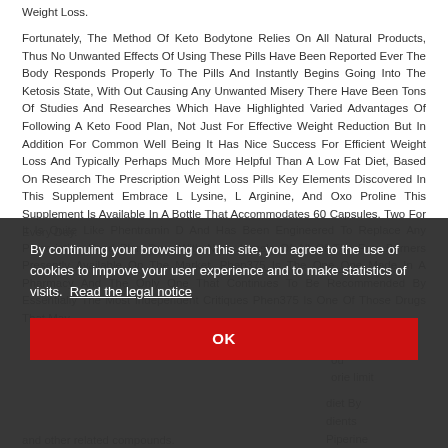Weight Loss.
Fortunately, The Method Of Keto Bodytone Relies On All Natural Products, Thus No Unwanted Effects Of Using These Pills Have Been Reported Ever The Body Responds Properly To The Pills And Instantly Begins Going Into The Ketosis State, With Out Causing Any Unwanted Misery There Have Been Tons Of Studies And Researches Which Have Highlighted Varied Advantages Of Following A Keto Food Plan, Not Just For Effective Weight Reduction But In Addition For Common Well Being It Has Nice Success For Efficient Weight Loss And Typically Perhaps Much More Helpful Than A Low Fat Diet, Based On Research The Prescription Weight Loss Pills Key Elements Discovered In This Supplement Embrace L Lysine, L Arginine, And Oxo Proline This Supplement Is Available In A Bottle That Accommodates 60 Capsules, Two For Every Day.
It Is Quite Like Phentramin D And Has Been Engineered To Replace Any Prescription Food Plan Drug With None Hassle Of All Of The Fats Burners Presently Available On The Market, Phen375 Is The One One Made In A Pharmacy And The Only One That Continues To Be Recommended By Essentially The Most Independent Critiques Phen375 Is One Of Those Drugs That May
...cially If ...ase In ...ou ...orie limit ...
...diet By ...dients ...Piperine ...t Loss
...and other ingredients...
By continuing your browsing on this site, you agree to the use of cookies to improve your user experience and to make statistics of visits. Read the legal notice